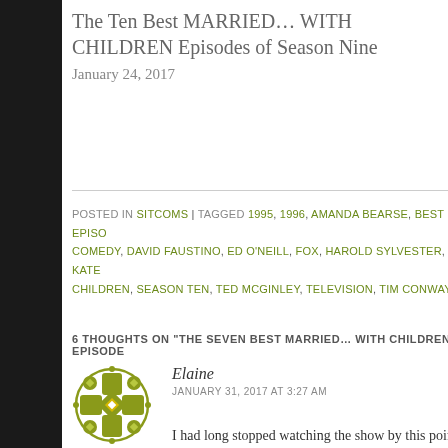The Ten Best MARRIED… WITH CHILDREN Episodes of Season Nine
January 24, 2017
POSTED IN SITCOMS | TAGGED 1995, 1996, AMANDA BEARSE, BEST EPISO COMEDY, DAVID FAUSTINO, ED O'NEILL, FOX, HAROLD SYLVESTER, KATE CHILDREN, SEASON TEN, TED MCGINLEY, TELEVISION, TIM CONWAY
6 THOUGHTS ON "THE SEVEN BEST MARRIED… WITH CHILDREN EPISODE
Elaine
JANUARY 31, 2017 AT 3:27 AM
I had long stopped watching the show by this point of the Butter episode. I love Griff and the premise j have to revisit.